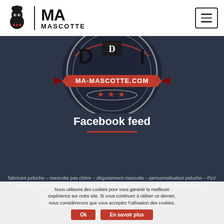[Figure (logo): Ma Mascotte logo with mascot icon, vertical divider, and text MA MASCOTTE]
[Figure (illustration): Ma-Mascotte.com circular badge/seal with ribbon banner showing MA-MASCOTTE.COM text and three stars, dark background, red and white design]
Facebook feed
fabricant peluche – mascotte pas chère – déguisement mascotte – personnalisation peluche – PLV gonflable – mascotte pas chère – personnalisation peluche – agence web tours 37 – ann r izzeria
Copyright © 2011 - 2021 Ma Mascotte - All rights reserved
Nous utilisons des cookies pour vous garantir la meilleure expérience sur notre site. Si vous continuez à utiliser ce dernier, nous considérerons que vous acceptez l'utilisation des cookies.